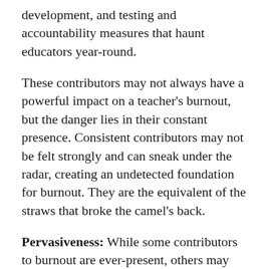development, and testing and accountability measures that haunt educators year-round.
These contributors may not always have a powerful impact on a teacher's burnout, but the danger lies in their constant presence. Consistent contributors may not be felt strongly and can sneak under the radar, creating an undetected foundation for burnout. They are the equivalent of the straws that broke the camel's back.
Pervasiveness: While some contributors to burnout are ever-present, others may seemingly come out of the blue. Pervasiveness describes contributors to